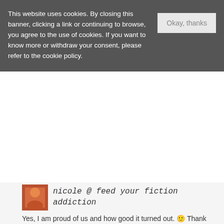This website uses cookies. By closing this banner, clicking a link or continuing to browse, you agree to the use of cookies. If you want to know more or withdraw your consent, please refer to the cookie policy.
Okay, thanks
nicole @ feed your fiction addiction
Yes, I am proud of us and how good it turned out. 🙂 Thank you!
september 6, 2019, 8:08 pm
Reply
caitlin @ caitlin althea
How do you read so much?? Ahh, I'm so amazed!! Also, I'm so glad that you enjoyed L.A.! I actually